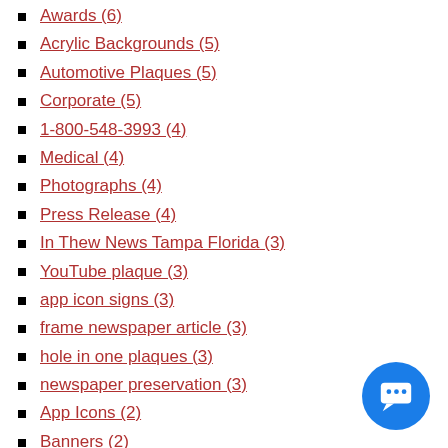Awards (6)
Acrylic Backgrounds (5)
Automotive Plaques (5)
Corporate (5)
1-800-548-3993 (4)
Medical (4)
Photographs (4)
Press Release (4)
In Thew News Tampa Florida (3)
YouTube plaque (3)
app icon signs (3)
frame newspaper article (3)
hole in one plaques (3)
newspaper preservation (3)
App Icons (2)
Banners (2)